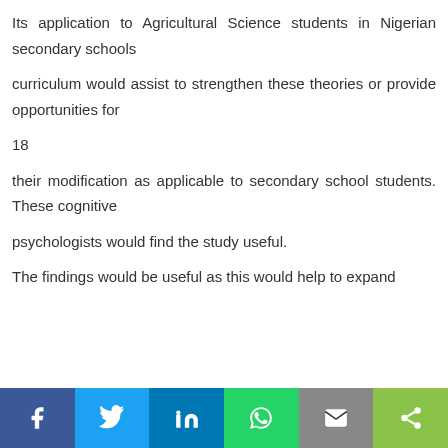Its application to Agricultural Science students in Nigerian secondary schools
curriculum would assist to strengthen these theories or provide opportunities for
18
their modification as applicable to secondary school students. These cognitive
psychologists would find the study useful.
The findings would be useful as this would help to expand